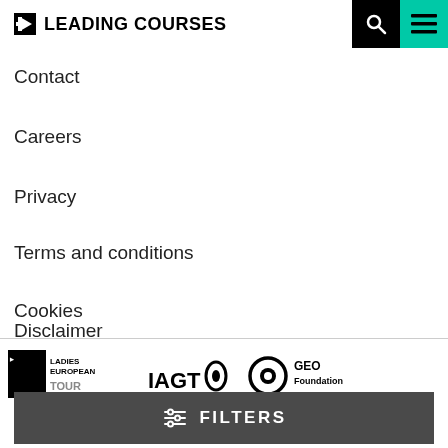LEADING COURSES
Contact
Careers
Privacy
Terms and conditions
Cookies
Disclaimer
[Figure (logo): Ladies European Tour logo, IAGTO logo, GEO Foundation logo, Green Egg logo]
FILTERS